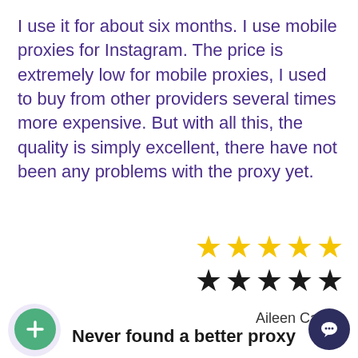I use it for about six months. I use mobile proxies for Instagram. The price is extremely low for mobile proxies, I used to buy from other providers several times more expensive. But with all this, the quality is simply excellent, there have not been any problems with the proxy yet.
[Figure (infographic): 5 gold stars on top row and 5 black stars on bottom row representing a rating]
Aileen Casey
Never found a better proxy